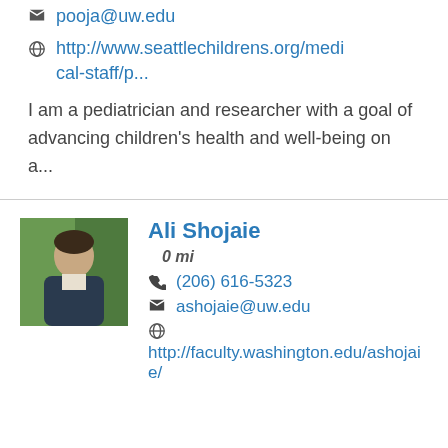pooja@uw.edu
http://www.seattlechildrens.org/medical-staff/p...
I am a pediatrician and researcher with a goal of advancing children's health and well-being on a...
Ali Shojaie
0 mi
(206) 616-5323
ashojaie@uw.edu
http://faculty.washington.edu/ashojaie/
[Figure (photo): Headshot of Ali Shojaie, a man in a dark sweater standing outdoors in front of green foliage]